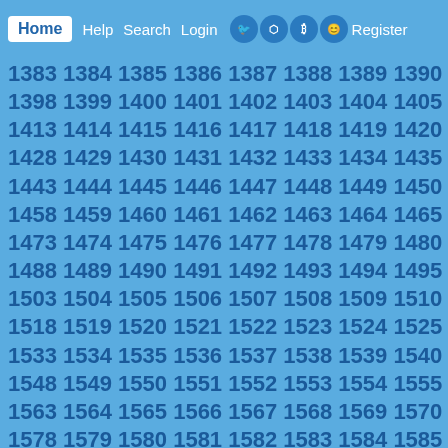Home Help Search Login Register
1383 1384 1385 1386 1387 1388 1389 1390 1391 ... 1398 1399 1400 1401 1402 1403 1404 1405 1406 ... 1413 1414 1415 1416 1417 1418 1419 1420 1421 ... 1428 1429 1430 1431 1432 1433 1434 1435 1436 ... 1443 1444 1445 1446 1447 1448 1449 1450 1451 ... 1458 1459 1460 1461 1462 1463 1464 1465 1466 ... 1473 1474 1475 1476 1477 1478 1479 1480 1481 ... 1488 1489 1490 1491 1492 1493 1494 1495 1496 ... 1503 1504 1505 1506 1507 1508 1509 1510 1511 ... 1518 1519 1520 1521 1522 1523 1524 1525 1526 ... 1533 1534 1535 1536 1537 1538 1539 1540 1541 ... 1548 1549 1550 1551 1552 1553 1554 1555 1556 ... 1563 1564 1565 1566 1567 1568 1569 1570 1571 ... 1578 1579 1580 1581 1582 1583 1584 1585 1586 ... 1593 1594 1595 1596 1597 1598 1599 1600 1601 ... 1608 1609 1610 1611 1612 1613 1614 1615 1616 ... 1623 1624 1625 1626 1627 1628 1629 1630 1631 ... 1638 1639 1640 1641 1642 1643 1644 1645 1646 ...